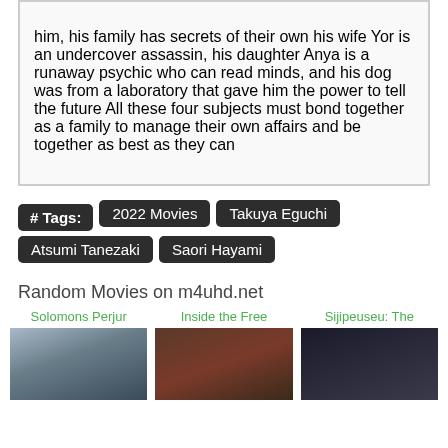him, his family has secrets of their own his wife Yor is an undercover assassin, his daughter Anya is a runaway psychic who can read minds, and his dog was from a laboratory that gave him the power to tell the future All these four subjects must bond together as a family to manage their own affairs and be together as best as they can
# Tags: 2022 Movies  Takuya Eguchi  Atsumi Tanezaki  Saori Hayami
Random Movies on m4uhd.net
[Figure (photo): Solomons Perjur movie thumbnail]
[Figure (photo): Inside the Free movie thumbnail]
[Figure (photo): Sijipeuseu: The movie thumbnail]